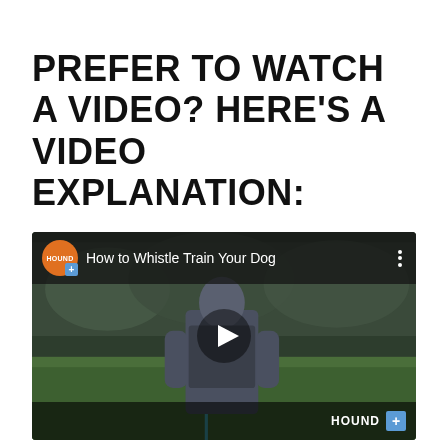PREFER TO WATCH A VIDEO? HERE'S A VIDEO EXPLANATION:
[Figure (screenshot): YouTube-style video player thumbnail showing a person standing on a green lawn holding a dog leash, with title 'How to Whistle Train Your Dog' and a Hound channel logo. A play button is visible in the center.]